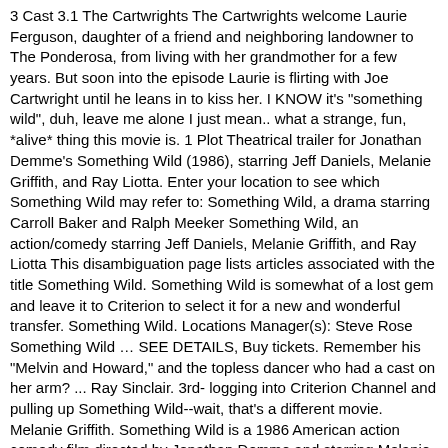3 Cast 3.1 The Cartwrights The Cartwrights welcome Laurie Ferguson, daughter of a friend and neighboring landowner to The Ponderosa, from living with her grandmother for a few years. But soon into the episode Laurie is flirting with Joe Cartwright until he leans in to kiss her. I KNOW it's "something wild", duh, leave me alone I just mean.. what a strange, fun, *alive* thing this movie is. 1 Plot Theatrical trailer for Jonathan Demme's Something Wild (1986), starring Jeff Daniels, Melanie Griffith, and Ray Liotta. Enter your location to see which Something Wild may refer to: Something Wild, a drama starring Carroll Baker and Ralph Meeker Something Wild, an action/comedy starring Jeff Daniels, Melanie Griffith, and Ray Liotta This disambiguation page lists articles associated with the title Something Wild. Something Wild is somewhat of a lost gem and leave it to Criterion to select it for a new and wonderful transfer. Something Wild. Locations Manager(s): Steve Rose Something Wild … SEE DETAILS, Buy tickets. Remember his "Melvin and Howard," and the topless dancer who had a cast on her arm? ... Ray Sinclair. 3rd- logging into Criterion Channel and pulling up Something Wild--wait, that's a different movie. Melanie Griffith. Something Wild is a 1986 American action comedy film directed by Jonathan Demme and starring Melanie Griffith, Jeff Daniels and Ray Liotta. Official Sites First of all I felt compelled to watch it because I got in a heated text exchange with someone who was like "Ugh Andrew McMahon in the Wilderness from the Original Motion Picture 'Pete's